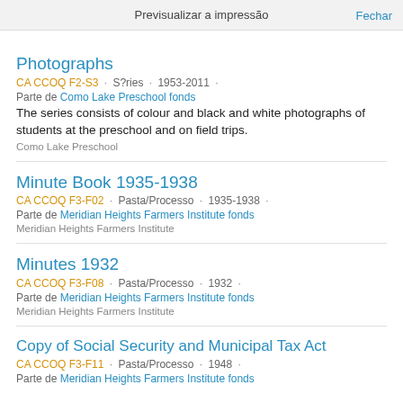Previsualizar a impressão   Fechar
Photographs
CA CCOQ F2-S3 · S?ries · 1953-2011 ·
Parte de Como Lake Preschool fonds
The series consists of colour and black and white photographs of students at the preschool and on field trips.
Como Lake Preschool
Minute Book 1935-1938
CA CCOQ F3-F02 · Pasta/Processo · 1935-1938 ·
Parte de Meridian Heights Farmers Institute fonds
Meridian Heights Farmers Institute
Minutes 1932
CA CCOQ F3-F08 · Pasta/Processo · 1932 ·
Parte de Meridian Heights Farmers Institute fonds
Meridian Heights Farmers Institute
Copy of Social Security and Municipal Tax Act
CA CCOQ F3-F11 · Pasta/Processo · 1948 ·
Parte de Meridian Heights Farmers Institute fonds